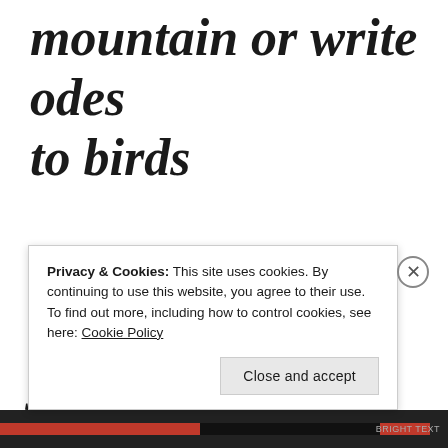mountain or write odes to birds
Perhaps that will save you (a poor parachute)
Privacy & Cookies: This site uses cookies. By continuing to use this website, you agree to their use.
To find out more, including how to control cookies, see here: Cookie Policy
Close and accept